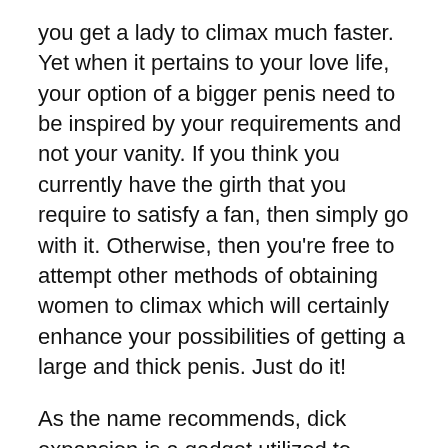you get a lady to climax much faster. Yet when it pertains to your love life, your option of a bigger penis need to be inspired by your requirements and not your vanity. If you think you currently have the girth that you require to satisfy a fan, then simply go with it. Otherwise, then you're free to attempt other methods of obtaining women to climax which will certainly enhance your possibilities of getting a large and thick penis. Just do it!
As the name recommends, dick expansion is a gadget utilized to expand the penis size and also girth. It is typically made of high quality silicone or rubber. This sort of extender has actually gotten a good track record in the male enhancement market as a